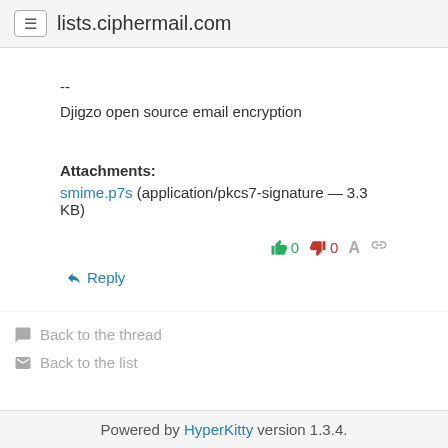lists.ciphermail.com
--
Djigzo open source email encryption
Attachments:
smime.p7s (application/pkcs7-signature — 3.3 KB)
👍 0   👎 0   A   🔗
↩ Reply
💬 Back to the thread
✉ Back to the list
Powered by HyperKitty version 1.3.4.